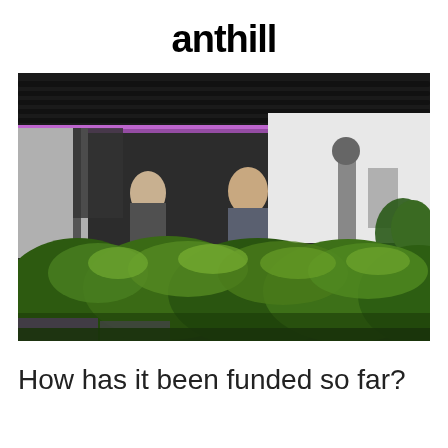anthill
[Figure (photo): Indoor vertical farm or greenhouse facility showing green leafy plants (herbs/microgreens) in the foreground, with two workers tending to the crops in the background under artificial lighting with a dark ceiling with visible lighting rigs and purple/pink LED lights.]
How has it been funded so far?